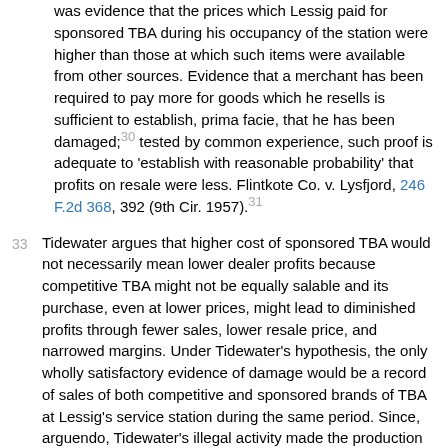was evidence that the prices which Lessig paid for sponsored TBA during his occupancy of the station were higher than those at which such items were available from other sources. Evidence that a merchant has been required to pay more for goods which he resells is sufficient to establish, prima facie, that he has been damaged;30 tested by common experience, such proof is adequate to 'establish with reasonable probability' that profits on resale were less. Flintkote Co. v. Lysfjord, 246 F.2d 368, 392 (9th Cir. 1957).31
33  Tidewater argues that higher cost of sponsored TBA would not necessarily mean lower dealer profits because competitive TBA might not be equally salable and its purchase, even at lower prices, might lead to diminished profits through fewer sales, lower resale price, and narrowed margins. Under Tidewater's hypothesis, the only wholly satisfactory evidence of damage would be a record of sales of both competitive and sponsored brands of TBA at Lessig's service station during the same period. Since, arguendo, Tidewater's illegal activity made the production of such evidence impossible by preventing Lessig from dealing in competitive TBA, Tidewater cannot complain that the preferred proof was not produced.32
34  As to the amount of damage, the evidence showed how much more